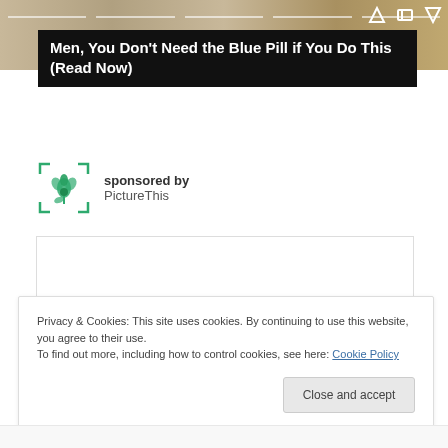[Figure (screenshot): Wooden surface background with progress bars and navigation icons at top]
Men, You Don't Need the Blue Pill if You Do This (Read Now)
sponsored by PictureThis
[Figure (other): Empty white advertisement box with border]
Privacy & Cookies: This site uses cookies. By continuing to use this website, you agree to their use.
To find out more, including how to control cookies, see here: Cookie Policy
Close and accept